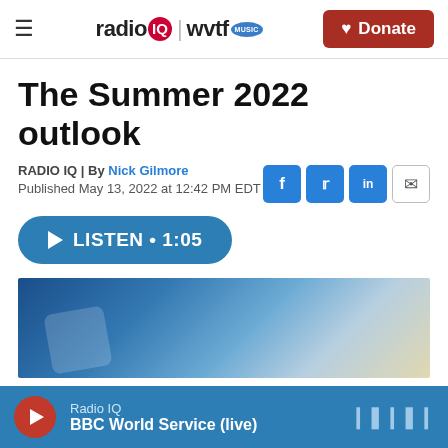radio IQ | wvtf MUSIC — Donate
The Summer 2022 outlook
RADIO IQ | By Nick Gilmore
Published May 13, 2022 at 12:42 PM EDT
▶ LISTEN • 1:05
[Figure (photo): Blue and white abstract image, partially visible, appears to be a product or event thumbnail]
Radio IQ — BBC World Service (live)